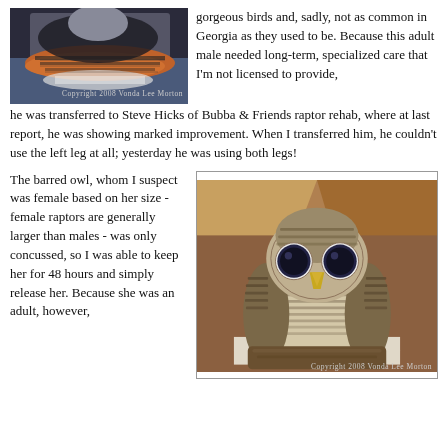[Figure (photo): Close-up photo of a bird (Eastern Towhee or similar raptor) with orange-red and black and white feathers, lying on a blue fabric surface. Copyright 2008 Vonda Lee Morton.]
gorgeous birds and, sadly, not as common in Georgia as they used to be. Because this adult male needed long-term, specialized care that I'm not licensed to provide, he was transferred to Steve Hicks of Bubba & Friends raptor rehab, where at last report, he was showing marked improvement. When I transferred him, he couldn't use the left leg at all; yesterday he was using both legs!
The barred owl, whom I suspect was female based on her size - female raptors are generally larger than males - was only concussed, so I was able to keep her for 48 hours and simply release her. Because she was an adult, however,
[Figure (photo): Photo of a barred owl with large dark eyes, yellow beak, and brown and white striped feathers, sitting in a cardboard box on white paper/tissue. Copyright 2008 Vonda Lee Morton.]